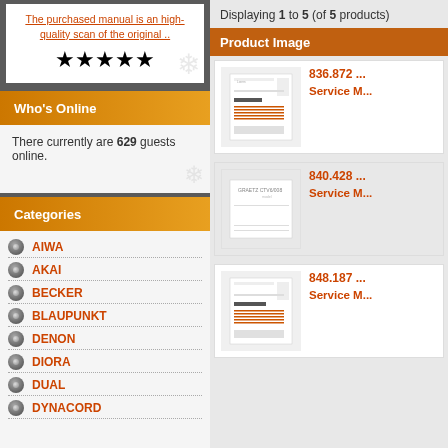The purchased manual is an high-quality scan of the original ..
[Figure (other): Five gold star rating icons]
Who's Online
There currently are 629 guests online.
Categories
AIWA
AKAI
BECKER
BLAUPUNKT
DENON
DIORA
DUAL
DYNACORD
Displaying 1 to 5 (of 5 products)
Product Image
[Figure (screenshot): Product thumbnail - service manual document scan]
836.872 ...
Service M...
[Figure (screenshot): Product thumbnail - GRAETZ CTV6/008 service manual]
840.428 ...
Service M...
[Figure (screenshot): Product thumbnail - service manual document scan]
848.187 ...
Service M...